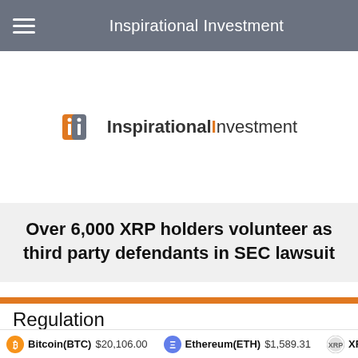Inspirational Investment
[Figure (logo): Inspirational Investment logo with stylized orange and gray 'ii' lettermark and text 'InspirationalInvestment']
Over 6,000 XRP holders volunteer as third party defendants in SEC lawsuit
Regulation
XRP coin holders have attempted to insert themselves as
Bitcoin(BTC) $20,106.00   Ethereum(ETH) $1,589.31   XRP